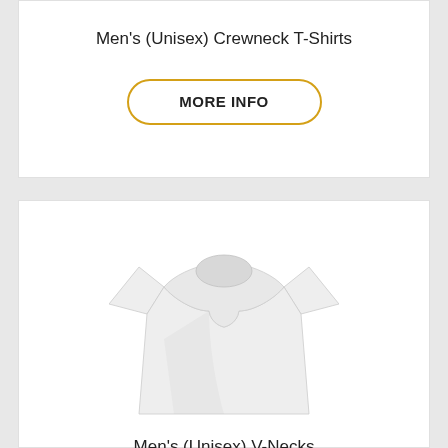Men's (Unisex) Crewneck T-Shirts
MORE INFO
[Figure (photo): White men's crewneck t-shirt product photo on white background]
Men's (Unisex) V-Necks